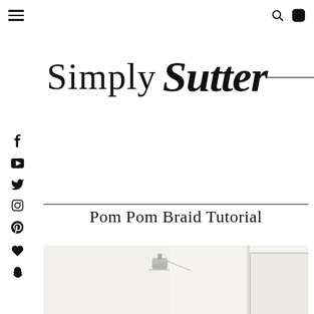Simply Sutter — navigation bar with hamburger menu, search and Instagram icons
Simply Sutter
[Figure (logo): Simply Sutter blog logo in mixed serif and script typography with horizontal rule]
[Figure (infographic): Social media sidebar icons: Facebook, YouTube, Twitter, Instagram, Pinterest, Heart/Bloglovin, Snapchat]
Pom Pom Braid Tutorial
[Figure (photo): Partial photo of a bathroom/room interior, light colored walls, showing what appears to be a small decorative item mounted near the ceiling]